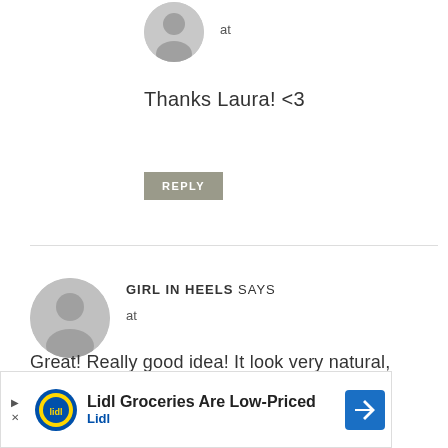[Figure (illustration): Gray avatar icon (person silhouette) for first commenter]
at
Thanks Laura! <3
REPLY
[Figure (illustration): Gray avatar icon (person silhouette) for GIRL IN HEELS commenter]
GIRL IN HEELS SAYS
at
Great! Really good idea! It look very natural, though ;)
REPLY
[Figure (illustration): Lidl advertisement banner: Lidl Groceries Are Low-Priced]